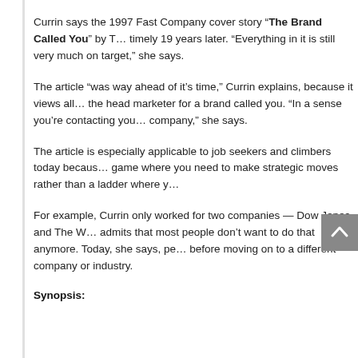Currin says the 1997 Fast Company cover story “The Brand Called You” by T… timely 19 years later. “Everything in it is still very much on target,” she says.
The article “was way ahead of it’s time,” Currin explains, because it views all… the head marketer for a brand called you. “In a sense you’re contacting you… company,” she says.
The article is especially applicable to job seekers and climbers today becaus… game where you need to make strategic moves rather than a ladder where y…
For example, Currin only worked for two companies — Dow Jones and The W… admits that most people don’t want to do that anymore. Today, she says, pe… before moving on to a different company or industry.
Synopsis: